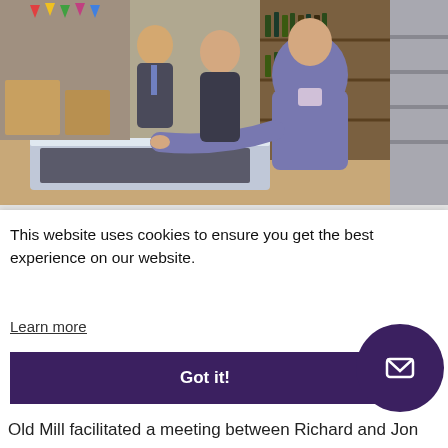[Figure (photo): Three people inside a food/wine shop. A man in a purple sweater is leaning over a display case, with a woman in a dark jacket and a man in a suit standing nearby. Shelves of bottles and products visible in the background.]
This website uses cookies to ensure you get the best experience on our website.
Learn more
Got it!
Old Mill facilitated a meeting between Richard and Jon